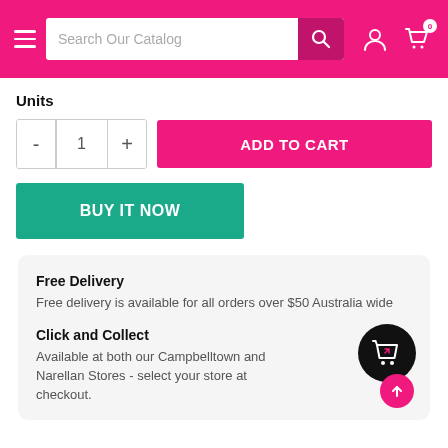Search Our Catalog
Units
ADD TO CART
BUY IT NOW
Free Delivery
Free delivery is available for all orders over $50 Australia wide
Click and Collect
Available at both our Campbelltown and Narellan Stores - select your store at checkout.